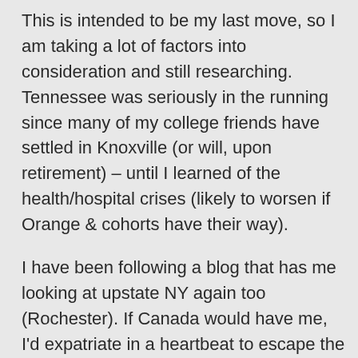This is intended to be my last move, so I am taking a lot of factors into consideration and still researching. Tennessee was seriously in the running since many of my college friends have settled in Knoxville (or will, upon retirement) – until I learned of the health/hospital crises (likely to worsen if Orange & cohorts have their way).

I have been following a blog that has me looking at upstate NY again too (Rochester). If Canada would have me, I'd expatriate in a heartbeat to escape the ravages of Crass-rate Capitalism and for right...